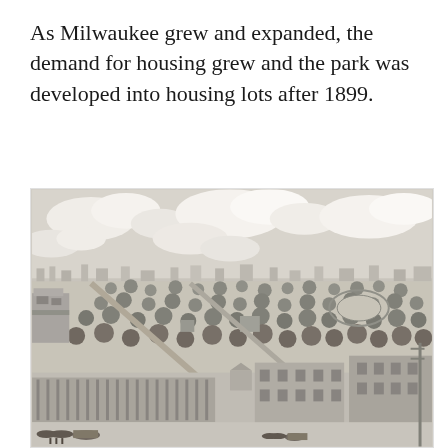As Milwaukee grew and expanded, the demand for housing grew and the park was developed into housing lots after 1899.
[Figure (illustration): Historical black and white bird's-eye illustration of Milwaukee showing a park with many trees, buildings along the foreground including multi-story structures, horse-drawn carriages on the street, and a wide urban landscape extending to the horizon with cloudy skies above.]